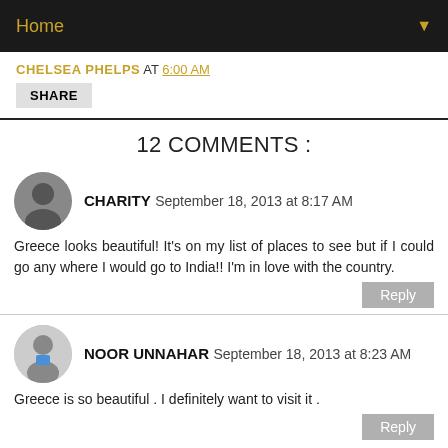Home
CHELSEA PHELPS AT 6:00 AM
SHARE
12 COMMENTS :
CHARITY September 18, 2013 at 8:17 AM
Greece looks beautiful! It's on my list of places to see but if I could go any where I would go to India!! I'm in love with the country.
Reply
NOOR UNNAHAR September 18, 2013 at 8:23 AM
Greece is so beautiful . I definitely want to visit it .
Reply